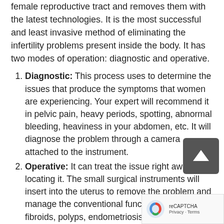female reproductive tract and removes them with the latest technologies. It is the most successful and least invasive method of eliminating the infertility problems present inside the body. It has two modes of operation: diagnostic and operative.
Diagnostic: This process uses to determine the issues that produce the symptoms that women are experiencing. Your expert will recommend it in pelvic pain, heavy periods, spotting, abnormal bleeding, heaviness in your abdomen, etc. It will diagnose the problem through a camera attached to the instrument.
Operative: It can treat the issue right away by locating it. The small surgical instruments will insert into the uterus to remove the problem and manage the conventional function. It treats fibroids, polyps, endometriosis, and other issues causing infertility or other difficulties.
Hysteroscopic Procedure in Nepal:
Your expert will prepare you for the process with general anaesthesia. It will put you in a state of unconsciousness.